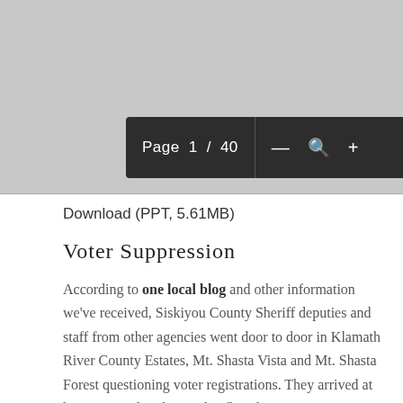[Figure (screenshot): PDF viewer screenshot showing a toolbar with 'Page 1 / 40' navigation and zoom controls (minus, magnify, plus) on a dark background, overlaying a grey page preview area.]
Download (PPT, 5.61MB)
Voter Suppression
According to one local blog and other information we've received, Siskiyou County Sheriff deputies and staff from other agencies went door to door in Klamath River County Estates, Mt. Shasta Vista and Mt. Shasta Forest questioning voter registrations. They arrived at homes armed with assault rifles, threatening to